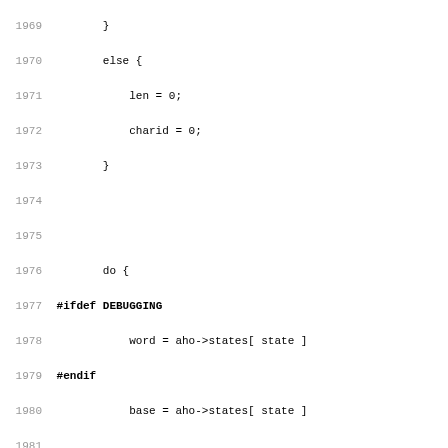[Figure (other): Source code listing showing C/Perl source code lines 1969-2001 with line numbers on the left, featuring code structures including else block, do block, #ifdef DEBUGGING, #endif, and various function calls like DEBUG_TRIE_EXECUTE_r, dump_exec_pos, PerlIO_printf]